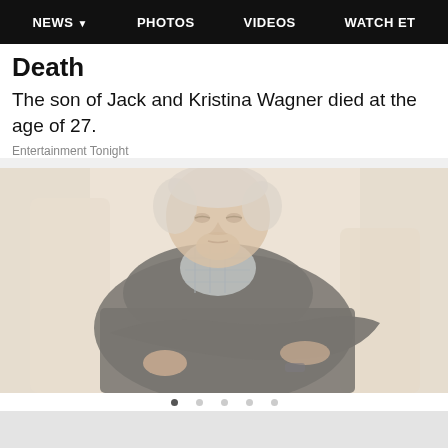NEWS  PHOTOS  VIDEOS  WATCH ET
Death
The son of Jack and Kristina Wagner died at the age of 27.
Entertainment Tonight
[Figure (photo): An older man with white/gray hair, wearing a dark sweater over a plaid collared shirt, seated and leaning back with arms crossed, in a light-colored setting. The photo is washed out / high-key exposure.]